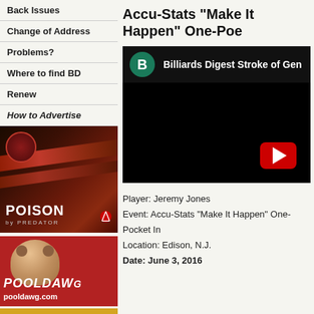Back Issues
Change of Address
Problems?
Where to find BD
Renew
How to Advertise
[Figure (photo): Poison by Predator billiard cue advertisement]
[Figure (photo): Pooldawg.com advertisement with bulldog mascot on red background]
Accu-Stats "Make It Happen" One-Pocket Invitational
[Figure (screenshot): Embedded YouTube video thumbnail for Billiards Digest Stroke of Genius, black background with red YouTube play button]
Player: Jeremy Jones
Event: Accu-Stats "Make It Happen" One-Pocket Invitational
Location: Edison, N.J.
Date: June 3, 2016